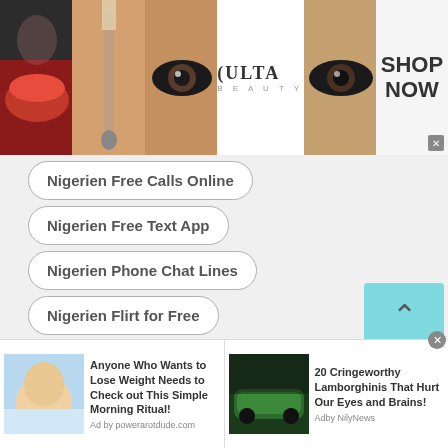[Figure (screenshot): Top banner advertisement for ULTA Beauty with makeup images and SHOP NOW call to action]
Nigerien Free Calls Online
Nigerien Free Text App
Nigerien Phone Chat Lines
Nigerien Flirt for Free
Nigerien Omegle Talk to Strangers
Nigerien Free Phone Call
Nigerien Chats
Nigerien Chatrandom Gay
[Figure (screenshot): Bottom ad bar with two advertisements: weight loss morning ritual ad and Lamborghini cars article]
Anyone Who Wants to Lose Weight Needs to Check out This Simple Morning Ritual!
Ad by powerarotdude.com
20 Cringeworthy Lamborghinis That Hurt Our Eyes and Brains!
Adby NilyNews